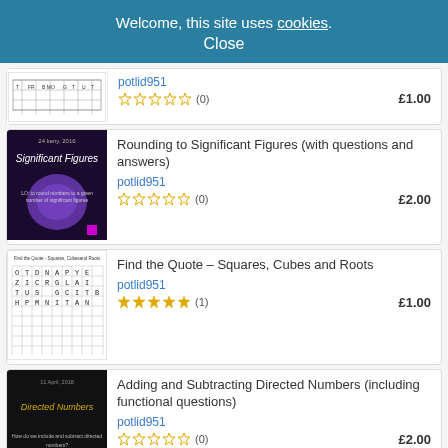Welcome, this site uses cookies. Close
potlid951
☆☆☆☆☆ (0)
£1.00
Rounding to Significant Figures (with questions and answers)
potlid951
☆☆☆☆☆ (0)
£2.00
Find the Quote – Squares, Cubes and Roots
potlid951
★★★★★ (1)
£1.00
Adding and Subtracting Directed Numbers (including functional questions)
potlid951
☆☆☆☆☆ (0)
£2.00